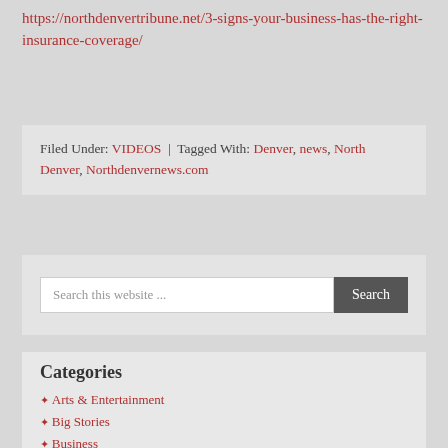https://northdenvertribune.net/3-signs-your-business-has-the-right-insurance-coverage/
Filed Under: VIDEOS | Tagged With: Denver, news, North Denver, Northdenvernews.com
Search this website ...
Categories
Arts & Entertainment
Big Stories
Business
Celebrities
Crime & Justice
CULTURE